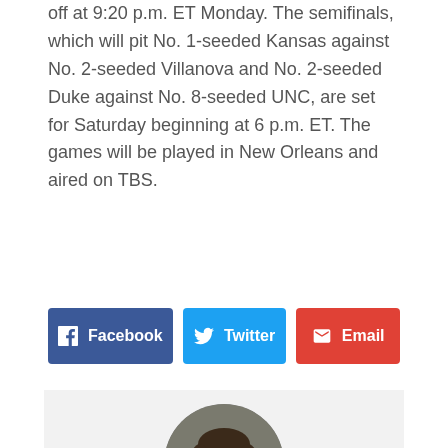off at 9:20 p.m. ET Monday. The semifinals, which will pit No. 1-seeded Kansas against No. 2-seeded Villanova and No. 2-seeded Duke against No. 8-seeded UNC, are set for Saturday beginning at 6 p.m. ET. The games will be played in New Orleans and aired on TBS.
[Figure (infographic): Three social share buttons side by side: Facebook (dark blue), Twitter (light blue), Email (red)]
[Figure (photo): Circular portrait photo of Jill R. Dorson, a woman with glasses smiling, wearing dark clothing]
Jill R. Dorson
Jill has covered everything from steeplechase to the NFL and then some during a more than 30-year career in sports journalism. The highlight of her career was